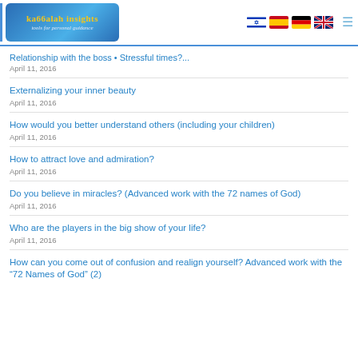[Figure (logo): Kabbalah Insights logo with tagline 'tools for personal guidance' and flag icons for Israel, Spain, Germany, UK]
Relationship with the boss • Stressful times?...
April 11, 2016
Externalizing your inner beauty
April 11, 2016
How would you better understand others (including your children)
April 11, 2016
How to attract love and admiration?
April 11, 2016
Do you believe in miracles? (Advanced work with the 72 names of God)
April 11, 2016
Who are the players in the big show of your life?
April 11, 2016
How can you come out of confusion and realign yourself? Advanced work with the “72 Names of God” (2)